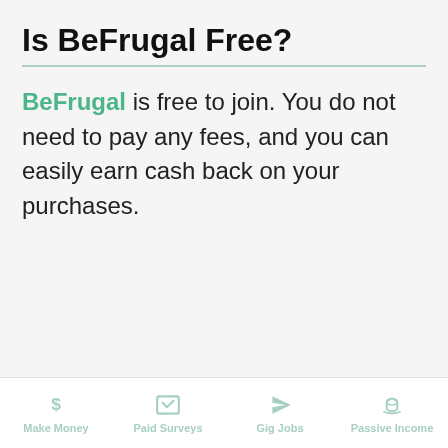Is BeFrugal Free?
BeFrugal is free to join. You do not need to pay any fees, and you can easily earn cash back on your purchases.
Make Money | Paid Surveys | Gig Jobs | Passive Income